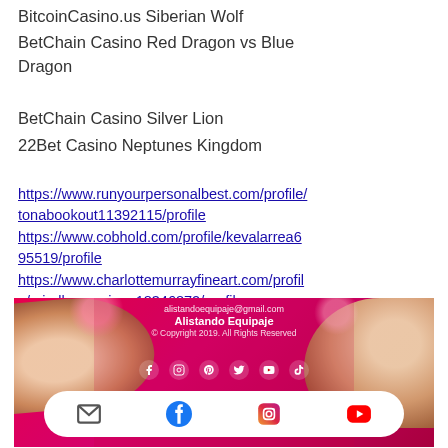BitcoinCasino.us Siberian Wolf
BetChain Casino Red Dragon vs Blue Dragon
BetChain Casino Silver Lion
22Bet Casino Neptunes Kingdom
https://www.runyourpersonalbest.com/profile/tonabookout11392115/profile https://www.cobhold.com/profile/kevalarrea695519/profile https://www.charlottemurrayfineart.com/profile/mirellamanzione18346872/profile https://www.txcountrygritandgrace.com/profile/tanyacoffinberger17529930/profile
[Figure (screenshot): Website footer with pink/magenta background showing food images on left and right, email alistandoequipaje@gmail.com, site name Alistando Equipaje, copyright 2019, social media icons row (Facebook, Instagram, Pinterest, Twitter, YouTube, TikTok), and white rounded bar with email, Facebook, Instagram, YouTube icons]